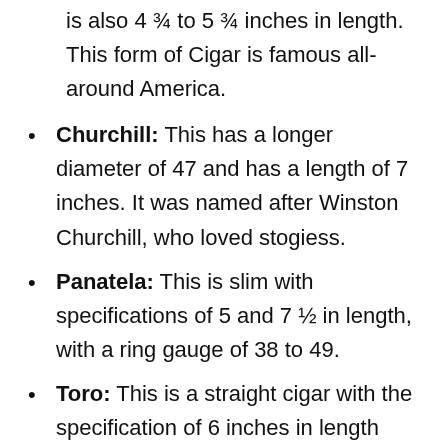is also 4 ¾ to 5 ¾ inches in length. This form of Cigar is famous all-around America.
Churchill: This has a longer diameter of 47 and has a length of 7 inches. It was named after Winston Churchill, who loved stogiess.
Panatela: This is slim with specifications of 5 and 7 ½ in length, with a ring gauge of 38 to 49.
Toro: This is a straight cigar with the specification of 6 inches in length and 50 ring gauge, almost the same as the Robusto.
Corona: This is regarded to be the standard of